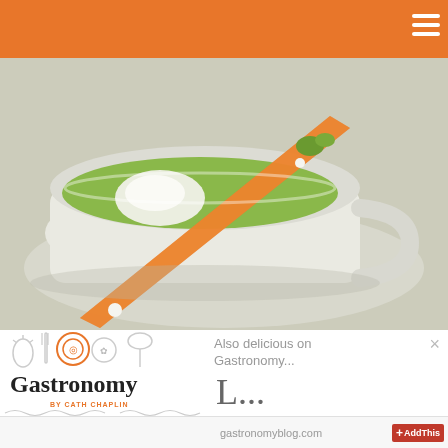[Figure (photo): A gourmet green soup served in a white cup on a saucer, garnished with white rice or foam and an orange crispy tuile or cracker diagonal across the cup, with small green herb garnishes]
[Figure (logo): Gastronomy blog logo with utensil icons (whisk, fork, plate, spoon etc.) and text 'Gastronomy BY CATH CHAPLIN' with decorative wave borders]
Also delicious on Gastronomy...
L...
gastronomyblog.com
AddThis